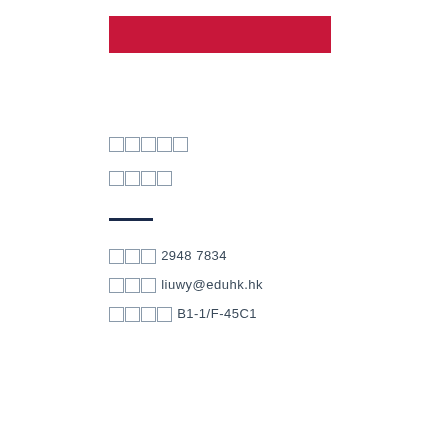[Figure (other): Red decorative bar at top of profile card]
□□□□□
□□□□
□□□ 2948 7834
□□□ liuwy@eduhk.hk
□□□□ B1-1/F-45C1